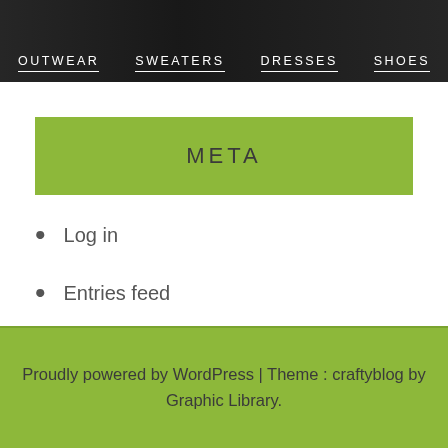[Figure (photo): Fashion website navigation banner with dark overlay showing categories: OUTWEAR, SWEATERS, DRESSES, SHOES]
META
Log in
Entries feed
Comments feed
WordPress.org
Proudly powered by WordPress | Theme : craftyblog by Graphic Library.